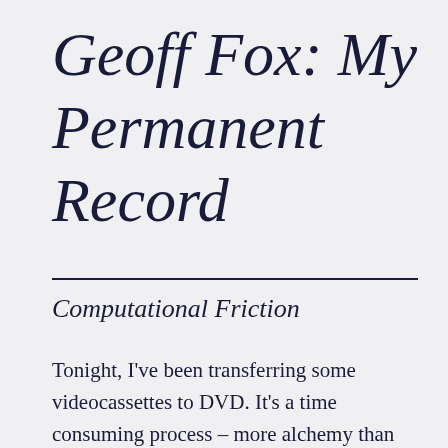Geoff Fox: My Permanent Record
Computational Friction
Tonight, I've been transferring some videocassettes to DVD. It's a time consuming process – more alchemy than anything else. This is well out of the